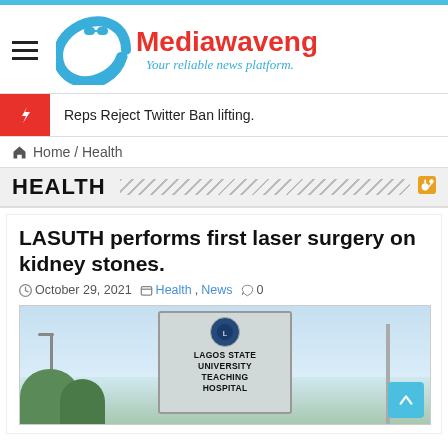[Figure (logo): Mediawaveng logo with blue wave/letter C and red text 'Mediawaveng', tagline 'Your reliable news platform.']
Reps Reject Twitter Ban lifting.
Home / Health
HEALTH
LASUTH performs first laser surgery on kidney stones.
October 29, 2021    Health, News    0
[Figure (photo): Photo of Lagos State University Teaching Hospital (LASUTH) sign/billboard with street lights and trees visible.]